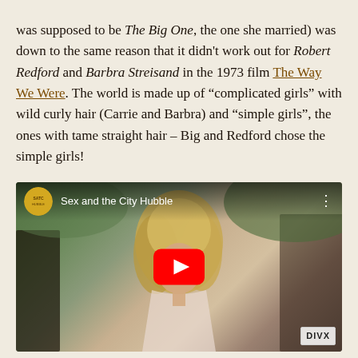was supposed to be The Big One, the one she married) was down to the same reason that it didn't work out for Robert Redford and Barbra Streisand in the 1973 film The Way We Were. The world is made up of "complicated girls" with wild curly hair (Carrie and Barbra) and "simple girls", the ones with tame straight hair – Big and Redford chose the simple girls!
[Figure (screenshot): Embedded YouTube video thumbnail showing 'Sex and the City Hubble' with a woman with curly blonde hair in foreground, a YouTube play button overlay, channel icon (yellow circular icon), and DIVX watermark in bottom right corner.]